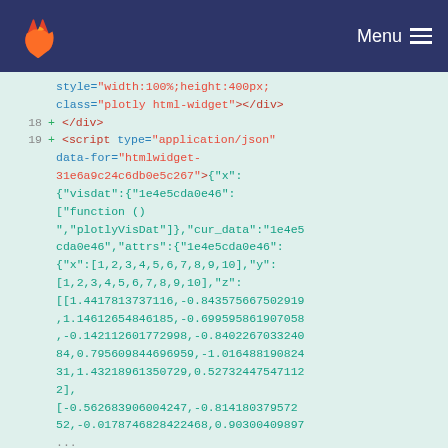GitLab navigation bar with logo and Menu
style="width:100%;height:400px;"
class="plotly html-widget"></div>
18 + </div>
19 + <script type="application/json"
data-for="htmlwidget-31e6a9c24c6db0e5c267">{"x":
{"visdat":{"1e4e5cda0e46":
["function ()
","plotlyVisDat"]},"cur_data":"1e4e5cda0e46","attrs":{"1e4e5cda0e46":
{"x":[1,2,3,4,5,6,7,8,9,10],"y":
[1,2,3,4,5,6,7,8,9,10],"z":
[[1.4417813737116,-0.843575667502919,1.14612654846185,-0.699595861907058,-0.142112601772998,-0.840226703324084,0.795609844696959,-1.01648819082431,1.43218961350729,0.527324475471122],
[-0.562683906004247,-0.814180379572352,-0.0178746828422468,0.90300409897